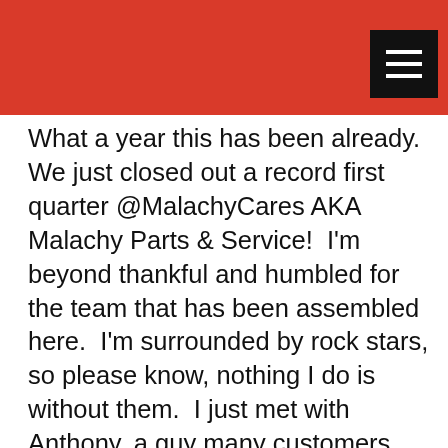[Figure (screenshot): Red header bar with a black hamburger menu button (three horizontal white lines) in the top right corner]
What a year this has been already.  We just closed out a record first quarter @MalachyCares AKA Malachy Parts & Service!  I'm beyond thankful and humbled for the team that has been assembled here.  I'm surrounded by rock stars, so please know, nothing I do is without them.  I just met with Anthony, a guy many customers may remember as our Parts GuRu!  He has a passion to be a chef, so he left to go to culinary school but some things have come up and we are talking about doing some more business together again.  The people that come into my life may start as just a business transaction but time tells the tale and usually, these people all become like family.  You can see our brief meeting above and don't forget to subscribe to our channel!  We